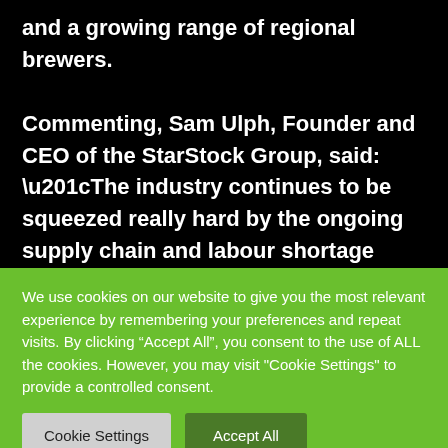and a growing range of regional brewers.
Commenting, Sam Ulph, Founder and CEO of the StarStock Group, said: “The industry continues to be squeezed really hard by the ongoing supply chain and labour shortage challenges, and our aim is to alleviate as much of the stress and strain associated with these challenges as possible. We are working to provide operators
We use cookies on our website to give you the most relevant experience by remembering your preferences and repeat visits. By clicking “Accept All”, you consent to the use of ALL the cookies. However, you may visit "Cookie Settings" to provide a controlled consent.